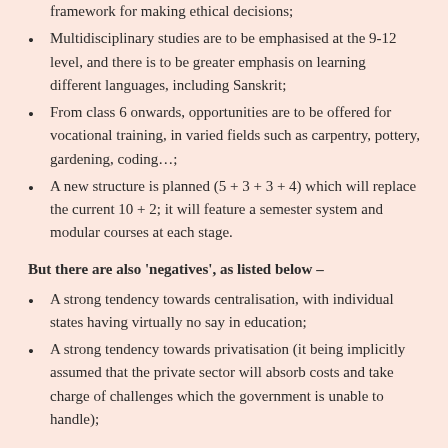doing what's right, they are to be given a logical framework for making ethical decisions;
Multidisciplinary studies are to be emphasised at the 9-12 level, and there is to be greater emphasis on learning different languages, including Sanskrit;
From class 6 onwards, opportunities are to be offered for vocational training, in varied fields such as carpentry, pottery, gardening, coding…;
A new structure is planned (5 + 3 + 3 + 4) which will replace the current 10 + 2; it will feature a semester system and modular courses at each stage.
But there are also 'negatives', as listed below –
A strong tendency towards centralisation, with individual states having virtually no say in education;
A strong tendency towards privatisation (it being implicitly assumed that the private sector will absorb costs and take charge of challenges which the government is unable to handle);